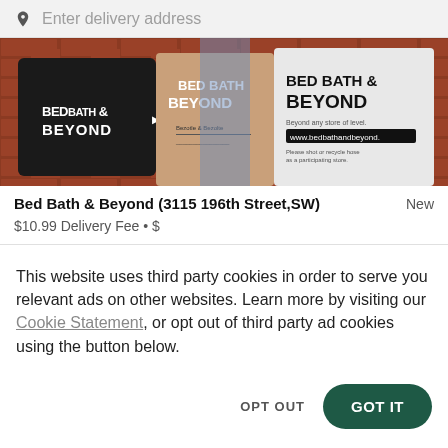Enter delivery address
[Figure (photo): Bed Bath & Beyond shopping bags (black tote, brown paper bag, white plastic bag) against a brick wall background]
Bed Bath & Beyond (3115 196th Street,SW)
New
$10.99 Delivery Fee • $
This website uses third party cookies in order to serve you relevant ads on other websites. Learn more by visiting our Cookie Statement, or opt out of third party ad cookies using the button below.
OPT OUT
GOT IT